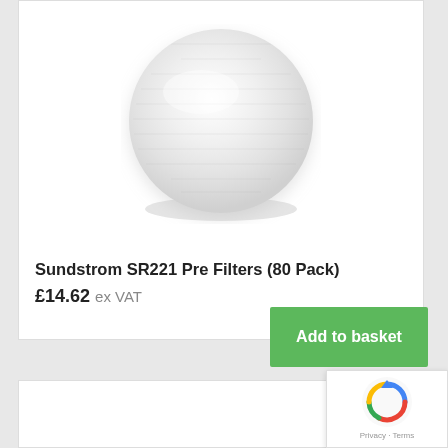[Figure (photo): White circular disc-shaped filter pad (Sundstrom SR221 pre-filter), photographed against a white background, showing fibrous texture.]
Sundstrom SR221 Pre Filters (80 Pack)
£14.62 ex VAT
Add to basket
[Figure (other): reCAPTCHA badge with Google logo, showing privacy and terms links.]